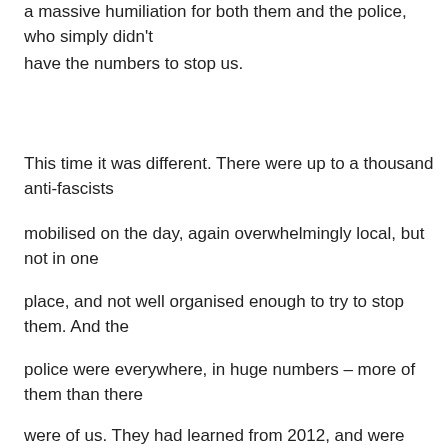a massive humiliation for both them and the police, who simply didn't have the numbers to stop us.
This time it was different. There were up to a thousand anti-fascists mobilised on the day, again overwhelmingly local, but not in one place, and not well organised enough to try to stop them. And the police were everywhere, in huge numbers – more of them than there were of us. They had learned from 2012, and were determined to control the day, which they did. To borrow a Scottish expression,